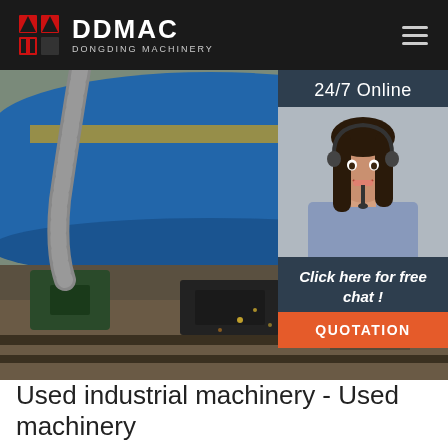DDMAC DONGDING MACHINERY
[Figure (photo): Industrial machinery photo showing a large blue cylindrical drum/rotary kiln with gears, motors and mechanical components in an industrial setting. Rust and debris visible on ground.]
[Figure (photo): 24/7 Online customer service widget with a smiling female agent wearing a headset, with 'Click here for free chat!' text and an orange QUOTATION button.]
Used industrial machinery - Used machinery
After the metal is formed, it can be further processed. Rolling machines, metal-presses and welding machines are most commonly used for this.